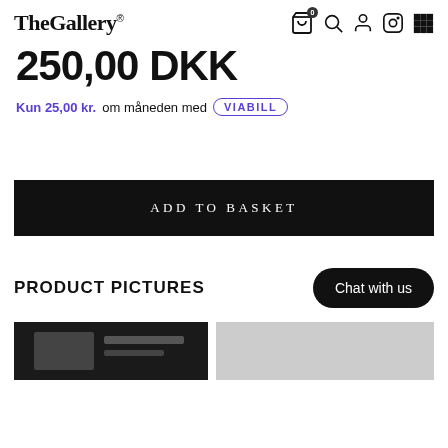TheGallery
250,00 DKK
Kun 25,00 kr. om måneden med VIABILL
ADD TO BASKET
PRODUCT PICTURES
Chat with us
[Figure (photo): Two thumbnail product images at bottom of page]